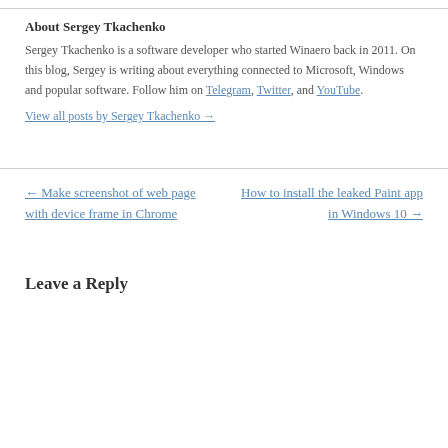About Sergey Tkachenko
Sergey Tkachenko is a software developer who started Winaero back in 2011. On this blog, Sergey is writing about everything connected to Microsoft, Windows and popular software. Follow him on Telegram, Twitter, and YouTube.
View all posts by Sergey Tkachenko →
← Make screenshot of web page with device frame in Chrome
How to install the leaked Paint app in Windows 10 →
Leave a Reply